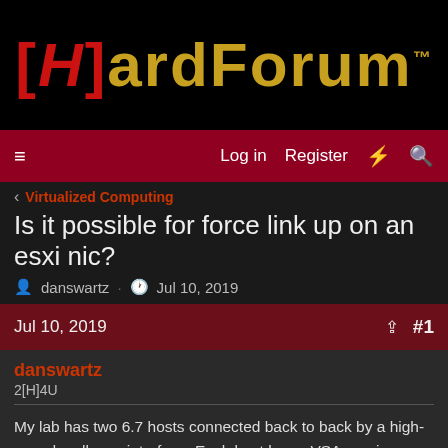[Figure (logo): [H]ardForum logo with red bracket H and gold ardForum text on black background]
Log in  Register
Virtualized Computing
Is it possible for force link up on an esxi nic?
danswartz · Jul 10, 2019
Jul 10, 2019  #1
danswartz
2[H]4U
My lab has two 6.7 hosts connected back to back by a high-speed mellanox interface. Each host has a VSA running, using iSCSI multipathing, so one host going down won't hose the other host. For max performance, each host has a virtual function of the mellanox NIC passed in via SR-IOV. Sadly, I